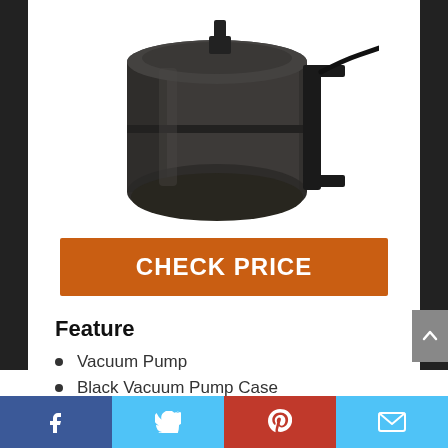[Figure (photo): Black vacuum pump with mounting bracket, cylindrical metal canister shape, dark gray/black color, viewed from slight angle above]
CHECK PRICE
Feature
Vacuum Pump
Black Vacuum Pump Case
Facebook | Twitter | Pinterest | Email